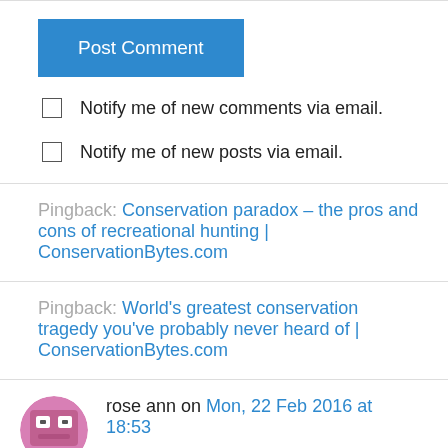Post Comment
Notify me of new comments via email.
Notify me of new posts via email.
Pingback: Conservation paradox – the pros and cons of recreational hunting | ConservationBytes.com
Pingback: World's greatest conservation tragedy you've probably never heard of | ConservationBytes.com
rose ann on Mon, 22 Feb 2016 at 18:53
Absolutely, there must be a net benefit to